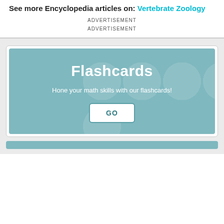See more Encyclopedia articles on: Vertebrate Zoology
ADVERTISEMENT
ADVERTISEMENT
[Figure (infographic): Flashcards promotional widget with teal background, decorative circles, title 'Flashcards', subtitle 'Hone your math skills with our flashcards!', and a GO button]